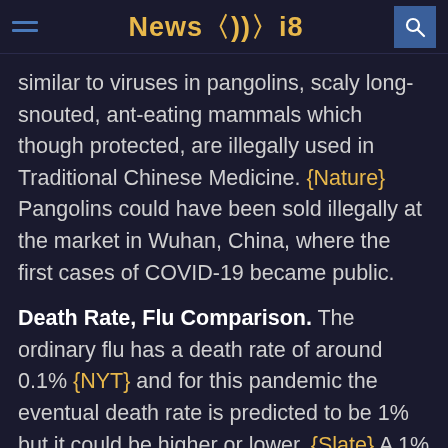News i8
similar to viruses in pangolins, scaly long-snouted, ant-eating mammals which though protected, are illegally used in Traditional Chinese Medicine. {Nature} Pangolins could have been sold illegally at the market in Wuhan, China, where the first cases of COVID-19 became public.
Death Rate, Flu Comparison. The ordinary flu has a death rate of around 0.1% {NYT} and for this pandemic the eventual death rate is predicted to be 1% but it could be higher or lower. {Slate} A 1% mortality rate makes COVID-19 ten times more deadly than the flu. At this